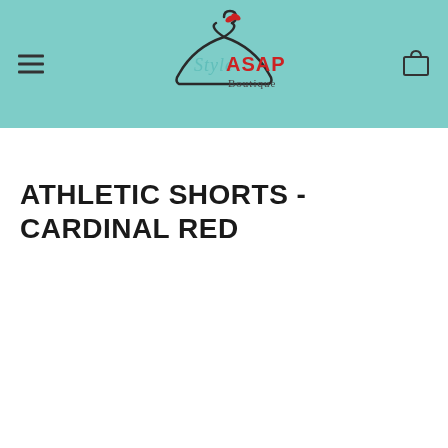[Figure (logo): Style ASAP Boutique logo with a dress hanger silhouette, a red bow on the hanger, cursive 'Style' text in teal, bold red 'ASAP' text, and 'Boutique' in dark gray below. Set on a teal/mint green header background.]
ATHLETIC SHORTS - CARDINAL RED